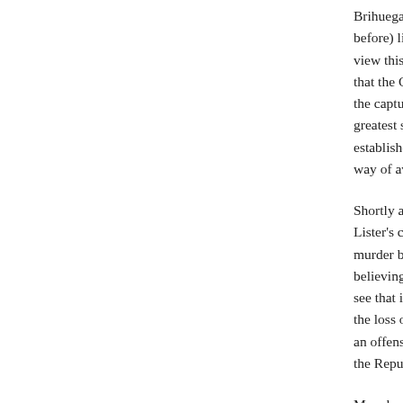Brihuega (where there had been blood-curdling before) liberated and Guadalajara held for the view this as simply another battle, but the way that the CTV would not meet the targets it had the capture of Teruel, the rout in Guadalajara w greatest successes of world antifascism. Mera' established once and for all in Guadalajara rat way of avoiding air raids.
Shortly after that, he was summoned to Brunet Lister's communists try to deceive him but he w murder bid of questionable provenance. Lister believing that Brunete lay within republican ter see that it was in fascist hands. Lister's plan w the loss of Brunete on Mera's XIV Division. Alt an offensive against Brunete, he was unable to the Republic.
Mera knew all of the politicians of the day. The